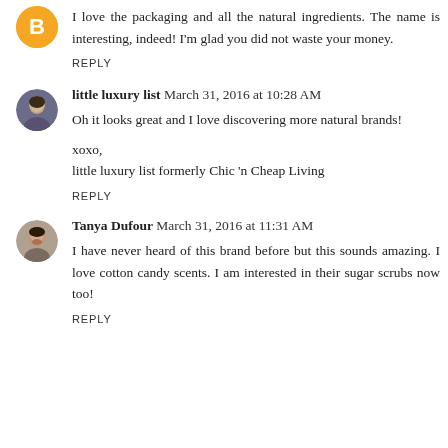I love the packaging and all the natural ingredients. The name is interesting, indeed! I'm glad you did not waste your money.
REPLY
little luxury list March 31, 2016 at 10:28 AM
Oh it looks great and I love discovering more natural brands!
xoxo,
little luxury list formerly Chic 'n Cheap Living
REPLY
Tanya Dufour March 31, 2016 at 11:31 AM
I have never heard of this brand before but this sounds amazing. I love cotton candy scents. I am interested in their sugar scrubs now too!
REPLY